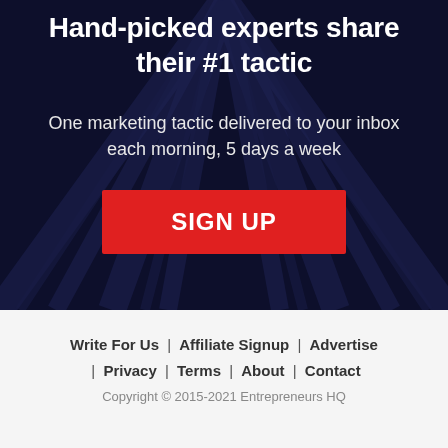Hand-picked experts share their #1 tactic
One marketing tactic delivered to your inbox each morning, 5 days a week
SIGN UP
Write For Us | Affiliate Signup | Advertise | Privacy | Terms | About | Contact
Copyright © 2015-2021 Entrepreneurs HQ